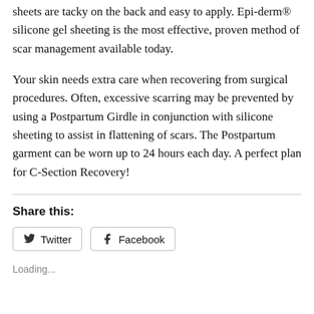sheets are tacky on the back and easy to apply. Epi-derm® silicone gel sheeting is the most effective, proven method of scar management available today.
Your skin needs extra care when recovering from surgical procedures. Often, excessive scarring may be prevented by using a Postpartum Girdle in conjunction with silicone sheeting to assist in flattening of scars. The Postpartum garment can be worn up to 24 hours each day. A perfect plan for C-Section Recovery!
Share this:
Twitter
Facebook
Loading...